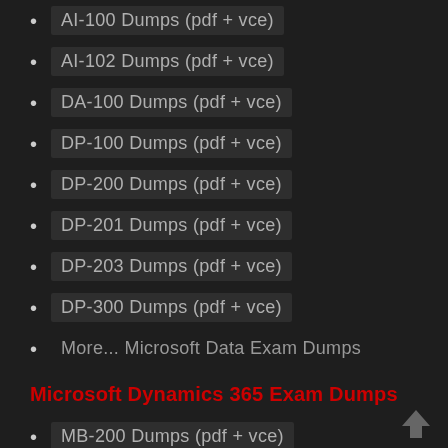AI-100 Dumps (pdf + vce)
AI-102 Dumps (pdf + vce)
DA-100 Dumps (pdf + vce)
DP-100 Dumps (pdf + vce)
DP-200 Dumps (pdf + vce)
DP-201 Dumps (pdf + vce)
DP-203 Dumps (pdf + vce)
DP-300 Dumps (pdf + vce)
More... Microsoft Data Exam Dumps
Microsoft Dynamics 365 Exam Dumps
MB-200 Dumps (pdf + vce)
MB-210 Dumps (pdf + vce)
MB-220 Dumps (pdf + vce)
MB-230 Dumps (pdf + vce)
MB-240 Dumps (pdf + vce)